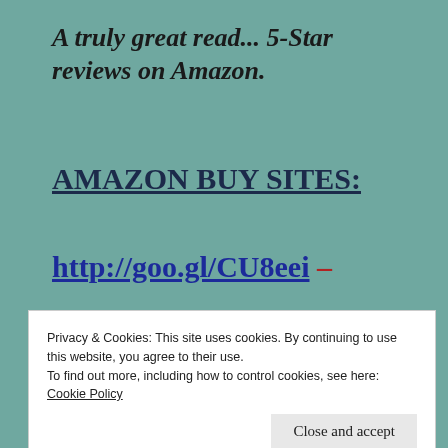A truly great read... 5-Star reviews on Amazon.
AMAZON BUY SITES:
http://goo.gl/CU8eei –
Privacy & Cookies: This site uses cookies. By continuing to use this website, you agree to their use.
To find out more, including how to control cookies, see here:
Cookie Policy
Close and accept
http://goo.gl/OrTJls